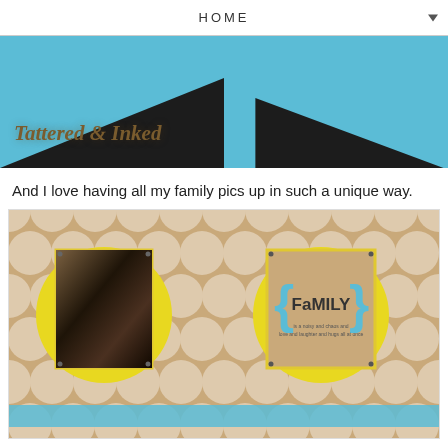HOME
[Figure (photo): Photo of rooftops against a blue sky with a blog banner text reading 'Tattered & Inked']
And I love having all my family pics up in such a unique way.
[Figure (photo): Craft display board with a tan quatrefoil pattern background, yellow circle embellishments, a black-and-white vintage family photo on the left, and a kraft paper card with curly braces and the word 'FaMILY' in blue and black text on the right, with a blue stripe along the bottom.]